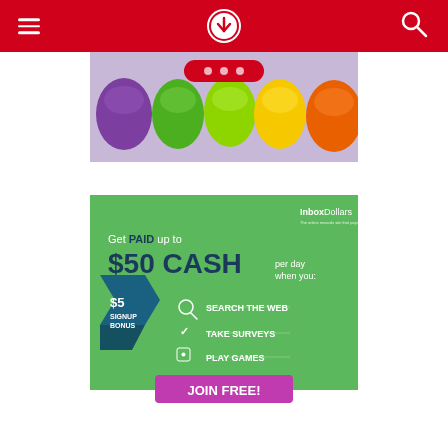Navigation header with menu icon, download icon, and search icon on red background
[Figure (photo): Colorful Easter eggs (purple, green, lime, yellow, orange) lined up in a row on a blurred background]
[Figure (infographic): InboxDollars advertisement: Get PAID up to $50 CASH per day when you: SEARCH THE WEB, TAKE SURVEYS, PLAY GAMES. $5 SIGNUP BONUS. JOIN FREE! button on green background.]